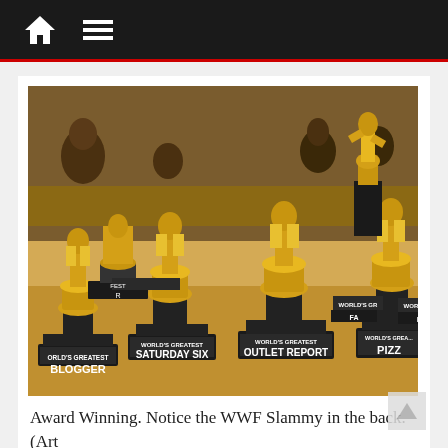Navigation bar with home and menu icons
[Figure (photo): A collection of gold trophy statues on black bases with labels reading 'World's Greatest Blogger', 'World's Greatest Saturday Six', 'World's Greatest Outlet Report', 'World's Greatest Pizza', and others partially visible. Multiple rows of trophies, with people visible in the background.]
Award Winning. Notice the WWF Slammy in the back. (Art by Matt Cleary)